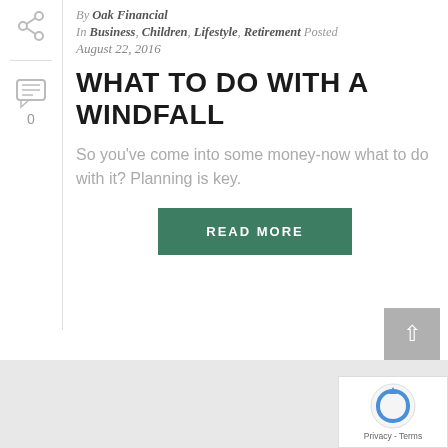By Oak Financial
In Business, Children, Lifestyle, Retirement Posted
August 22, 2016
WHAT TO DO WITH A WINDFALL
So you've come into some money-now what to do with it? Planning is key.
READ MORE
[Figure (other): Gray footer area with back-to-top button and reCAPTCHA badge showing Privacy - Terms text]